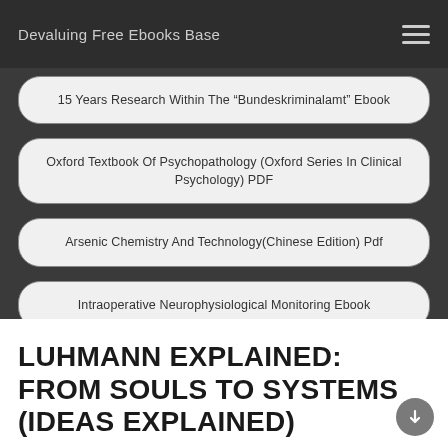Devaluing Free Ebooks Base
15 Years Research Within The “Bundeskriminalamt” Ebook
Oxford Textbook Of Psychopathology (Oxford Series In Clinical Psychology) PDF
Arsenic Chemistry And Technology(Chinese Edition) Pdf
Intraoperative Neurophysiological Monitoring Ebook
LUHMANN EXPLAINED: FROM SOULS TO SYSTEMS (IDEAS EXPLAINED)